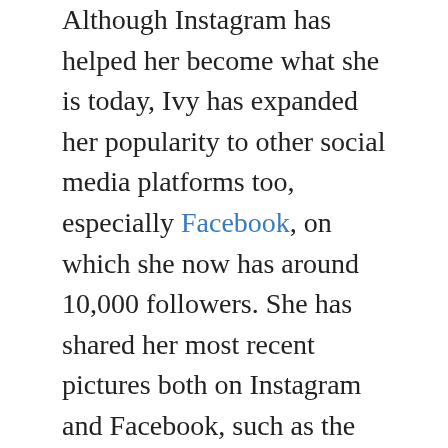Although Instagram has helped her become what she is today, Ivy has expanded her popularity to other social media platforms too, especially Facebook, on which she now has around 10,000 followers. She has shared her most recent pictures both on Instagram and Facebook, such as the start of the bikini season at Byron Bay, but has also shared pictures with her friends, such as this one from the Sunshine Coast, Queensland.

So, if you aren't already a fan of this prominent model, then this is a perfect opportunity for you to become one, just skip over to her official pages, and see what she is